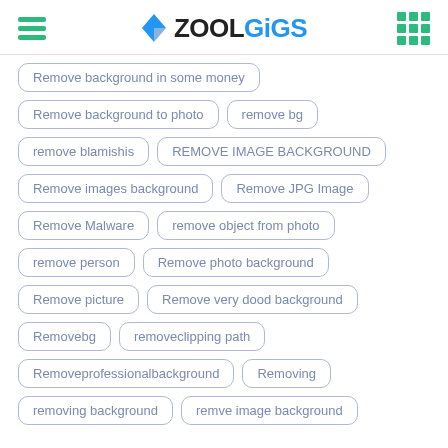ZOOLGiGS
Remove background in some money
Remove background to photo
remove bg
remove blamishis
REMOVE IMAGE BACKGROUND
Remove images background
Remove JPG Image
Remove Malware
remove object from photo
remove person
Remove photo background
Remove picture
Remove very dood background
Removebg
removeclipping path
Removeprofessionalbackground
Removing
removing background
remve image background